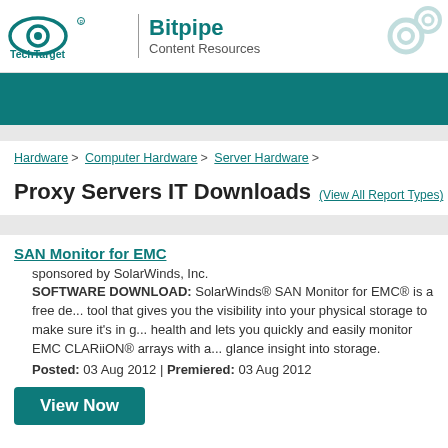[Figure (logo): TechTarget logo with eye icon and Bitpipe Content Resources branding]
Hardware > Computer Hardware > Server Hardware >
Proxy Servers IT Downloads (View All Report Types)
SAN Monitor for EMC
sponsored by SolarWinds, Inc.
SOFTWARE DOWNLOAD: SolarWinds® SAN Monitor for EMC® is a free de... tool that gives you the visibility into your physical storage to make sure it's in g... health and lets you quickly and easily monitor EMC CLARiiON® arrays with a... glance insight into storage.
Posted: 03 Aug 2012 | Premiered: 03 Aug 2012